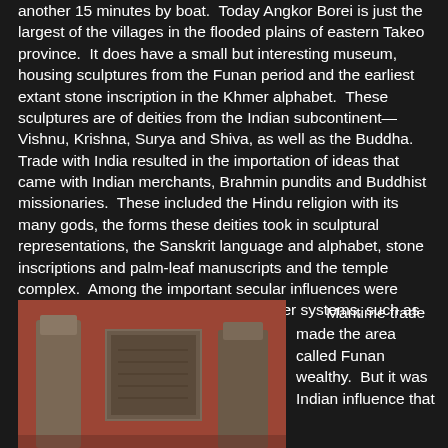another 15 minutes by boat.  Today Angkor Borei is just the largest of the villages in the flooded plains of eastern Takeo province.  It does have a small but interesting museum, housing sculptures from the Funan period and the earliest extant stone inscription in the Khmer alphabet.  These sculptures are of deities from the Indian subcontinent—Vishnu, Krishna, Surya and Shiva, as well as the Buddha.  Trade with India resulted in the importation of ideas that came with Indian merchants, Brahmin pundits and Buddhist missionaries.  These included the Hindu religion with its many gods, the forms these deities took in sculptural representations, the Sanskrit language and alphabet, stone inscriptions and palm-leaf manuscripts and the temple complex.  Among the important secular influences were rectilinear urban grids and artificial water systems, such as canals and reservoirs.
[Figure (photo): Museum display photo showing ancient Khmer/Funan period stone sculptures against a reddish-brown wall background]
Maritime trade made the area called Funan wealthy.  But it was Indian influence that